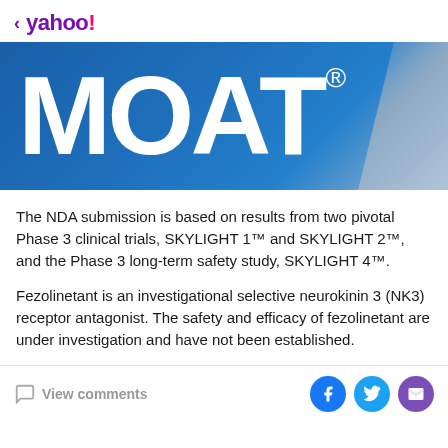< yahoo!
[Figure (logo): MOAT brand logo with large white bold text on blue gradient background with registered trademark symbol]
The NDA submission is based on results from two pivotal Phase 3 clinical trials, SKYLIGHT 1™ and SKYLIGHT 2™, and the Phase 3 long-term safety study, SKYLIGHT 4™.
Fezolinetant is an investigational selective neurokinin 3 (NK3) receptor antagonist. The safety and efficacy of fezolinetant are under investigation and have not been established.
View comments